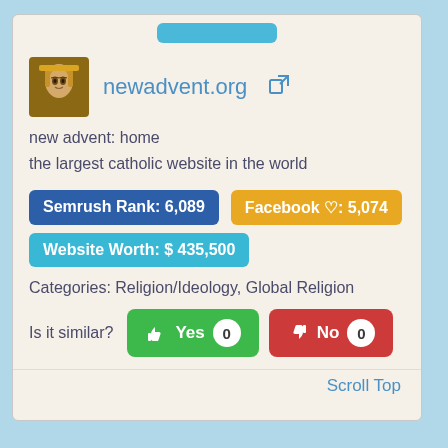[Figure (screenshot): Favicon/icon image for newadvent.org showing a religious icon (Byzantine-style face)]
newadvent.org
new advent: home
the largest catholic website in the world
Semrush Rank: 6,089
Facebook ♡: 5,074
Website Worth: $ 435,500
Categories: Religion/Ideology, Global Religion
Is it similar?
Yes 0
No 0
Scroll Top